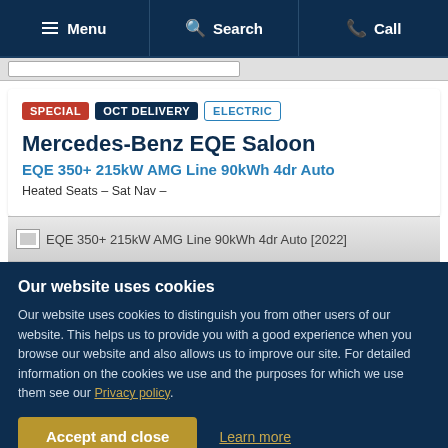Menu | Search | Call
SPECIAL | OCT DELIVERY | ELECTRIC
Mercedes-Benz EQE Saloon
EQE 350+ 215kW AMG Line 90kWh 4dr Auto
Heated Seats – Sat Nav –
[Figure (photo): EQE 350+ 215kW AMG Line 90kWh 4dr Auto [2022]]
Our website uses cookies
Our website uses cookies to distinguish you from other users of our website. This helps us to provide you with a good experience when you browse our website and also allows us to improve our site. For detailed information on the cookies we use and the purposes for which we use them see our Privacy policy.
Accept and close | Learn more